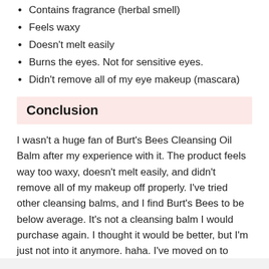Contains fragrance (herbal smell)
Feels waxy
Doesn't melt easily
Burns the eyes. Not for sensitive eyes.
Didn't remove all of my eye makeup (mascara)
Conclusion
I wasn't a huge fan of Burt's Bees Cleansing Oil Balm after my experience with it. The product feels way too waxy, doesn't melt easily, and didn't remove all of my makeup off properly. I've tried other cleansing balms, and I find Burt's Bees to be below average. It's not a cleansing balm I would purchase again. I thought it would be better, but I'm just not into it anymore. haha. I've moved on to better makeup removers/cleansing balms.